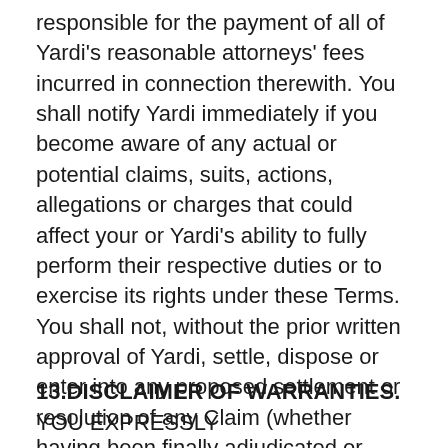responsible for the payment of all of Yardi's reasonable attorneys' fees incurred in connection therewith. You shall notify Yardi immediately if you become aware of any actual or potential claims, suits, actions, allegations or charges that could affect your or Yardi's ability to fully perform their respective duties or to exercise its rights under these Terms. You shall not, without the prior written approval of Yardi, settle, dispose or enter into any proposed settlement or resolution of any Claim (whether having been finally adjudicated or otherwise) brought against you, if such settlement or resolution results in any obligation or liability for Yardi.
13.DISCLAIMER OF WARRANTIES. YOU EXPRESSLY